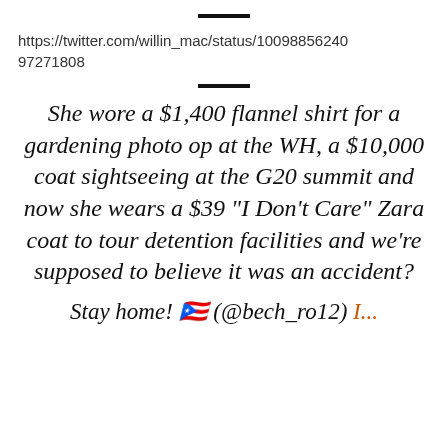https://twitter.com/willin_mac/status/100988562409 7271808
She wore a $1,400 flannel shirt for a gardening photo op at the WH, a $10,000 coat sightseeing at the G20 summit and now she wears a $39 “I Don’t Care” Zara coat to tour detention facilities and we’re supposed to believe it was an accident?
Stay home! 🇵🇷 (@bech_ro12) I...